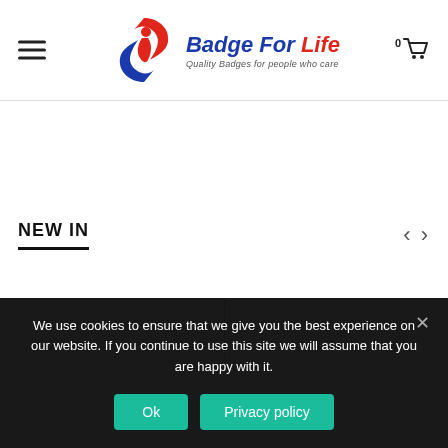[Figure (logo): Badge For Life logo with red and blue swoosh figure, text 'Badge For Life' and tagline 'Quality Badges for people who care']
NEW IN
We use cookies to ensure that we give you the best experience on our website. If you continue to use this site we will assume that you are happy with it.
Ok
Privacy policy